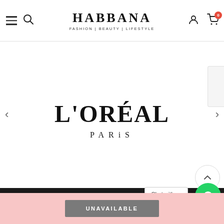HABBANA FASHION | BEAUTY | LIFESTYLE
[Figure (logo): L'ORÉAL PARIS brand logo displayed in a carousel slide on the Habbana website]
NAVIGATE
CATEGORIES
Chat with us
UNAVAILABLE